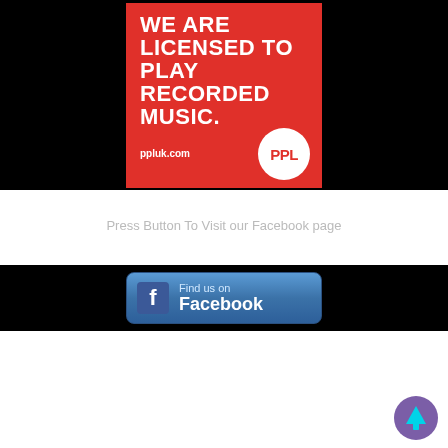[Figure (infographic): PPL UK red banner with white bold text: 'WE ARE LICENSED TO PLAY RECORDED MUSIC.' and ppluk.com logo on black background]
Press Button To Visit our Facebook page
[Figure (infographic): Black banner with a blue 'Find us on Facebook' button with Facebook 'f' icon on left]
[Figure (illustration): Purple circular scroll-to-top button with upward arrow icon, bottom-right corner]